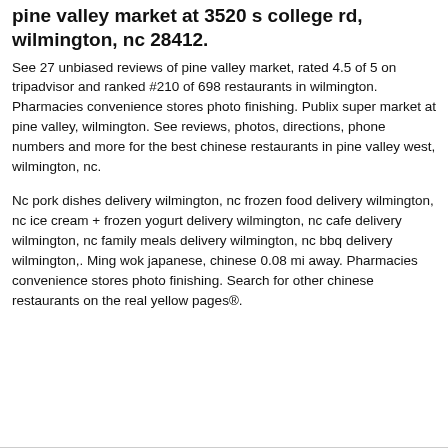pine valley market at 3520 s college rd, wilmington, nc 28412.
See 27 unbiased reviews of pine valley market, rated 4.5 of 5 on tripadvisor and ranked #210 of 698 restaurants in wilmington. Pharmacies convenience stores photo finishing. Publix super market at pine valley, wilmington. See reviews, photos, directions, phone numbers and more for the best chinese restaurants in pine valley west, wilmington, nc.
Nc pork dishes delivery wilmington, nc frozen food delivery wilmington, nc ice cream + frozen yogurt delivery wilmington, nc cafe delivery wilmington, nc family meals delivery wilmington, nc bbq delivery wilmington,. Ming wok japanese, chinese 0.08 mi away. Pharmacies convenience stores photo finishing. Search for other chinese restaurants on the real yellow pages®.